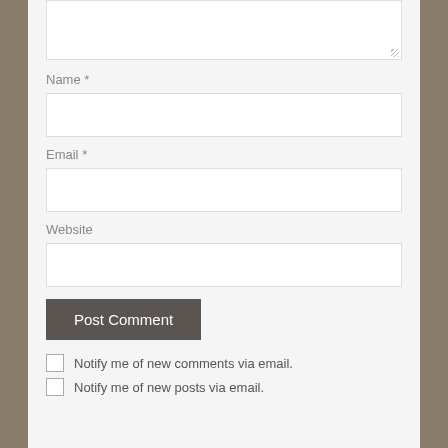[Figure (screenshot): Comment form textarea (partially visible at top)]
Name *
[Figure (screenshot): Name input field]
Email *
[Figure (screenshot): Email input field]
Website
[Figure (screenshot): Website input field]
Post Comment
Notify me of new comments via email.
Notify me of new posts via email.